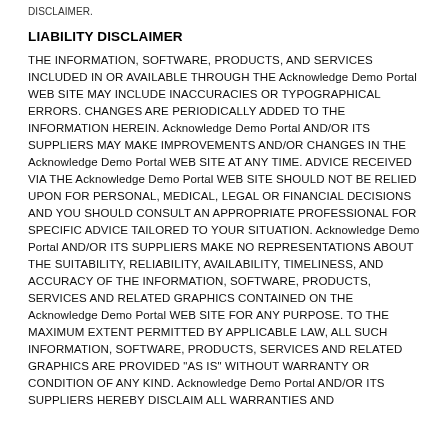DISCLAIMER.
LIABILITY DISCLAIMER
THE INFORMATION, SOFTWARE, PRODUCTS, AND SERVICES INCLUDED IN OR AVAILABLE THROUGH THE Acknowledge Demo Portal WEB SITE MAY INCLUDE INACCURACIES OR TYPOGRAPHICAL ERRORS. CHANGES ARE PERIODICALLY ADDED TO THE INFORMATION HEREIN. Acknowledge Demo Portal AND/OR ITS SUPPLIERS MAY MAKE IMPROVEMENTS AND/OR CHANGES IN THE Acknowledge Demo Portal WEB SITE AT ANY TIME. ADVICE RECEIVED VIA THE Acknowledge Demo Portal WEB SITE SHOULD NOT BE RELIED UPON FOR PERSONAL, MEDICAL, LEGAL OR FINANCIAL DECISIONS AND YOU SHOULD CONSULT AN APPROPRIATE PROFESSIONAL FOR SPECIFIC ADVICE TAILORED TO YOUR SITUATION. Acknowledge Demo Portal AND/OR ITS SUPPLIERS MAKE NO REPRESENTATIONS ABOUT THE SUITABILITY, RELIABILITY, AVAILABILITY, TIMELINESS, AND ACCURACY OF THE INFORMATION, SOFTWARE, PRODUCTS, SERVICES AND RELATED GRAPHICS CONTAINED ON THE Acknowledge Demo Portal WEB SITE FOR ANY PURPOSE. TO THE MAXIMUM EXTENT PERMITTED BY APPLICABLE LAW, ALL SUCH INFORMATION, SOFTWARE, PRODUCTS, SERVICES AND RELATED GRAPHICS ARE PROVIDED "AS IS" WITHOUT WARRANTY OR CONDITION OF ANY KIND. Acknowledge Demo Portal AND/OR ITS SUPPLIERS HEREBY DISCLAIM ALL WARRANTIES AND